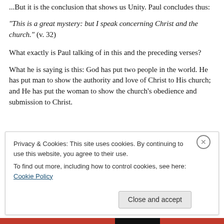...But it is the conclusion that shows us Unity. Paul concludes thus:
“This is a great mystery: but I speak concerning Christ and the church.” (v. 32)
What exactly is Paul talking of in this and the preceding verses?
What he is saying is this: God has put two people in the world. He has put man to show the authority and love of Christ to His church; and He has put the woman to show the church’s obedience and submission to Christ.
Privacy & Cookies: This site uses cookies. By continuing to use this website, you agree to their use. To find out more, including how to control cookies, see here: Cookie Policy
Close and accept